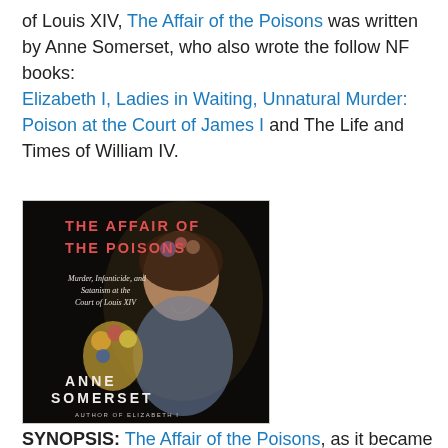of Louis XIV, The Affair of the Poisons was written by Anne Somerset, who also wrote the follow NF books: Elizabeth I, Ladies in Waiting, Unnatural Murder: Poison at the Court of James I and The Life and Times of William IV.
[Figure (illustration): Book cover of 'The Affair of the Poisons' by Anne Somerset. Dark background with a Baroque-style portrait of a woman holding flowers. Title in red text at top, subtitle 'Murder, Infanticide, and Satanism at the Court of Louis XIV' in white, author name 'ANNE SOMERSET' and 'AUTHOR OF ELIZABETH I' at bottom.]
SYNOPSIS: The Affair of the Poisons, as it became known